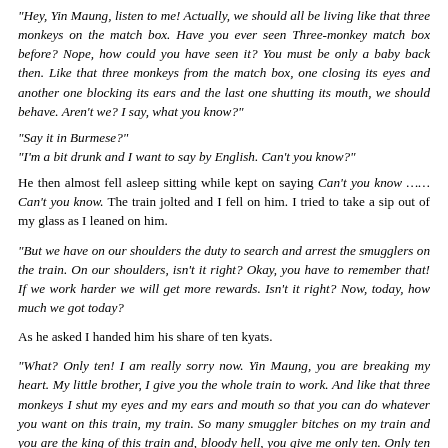“Hey, Yin Maung, listen to me! Actually, we should all be living like that three monkeys on the match box. Have you ever seen Three-monkey match box before? Nope, how could you have seen it? You must be only a baby back then. Like that three monkeys from the match box, one closing its eyes and another one blocking its ears and the last one shutting its mouth, we should behave. Aren’t we? I say, what you know?”
“Say it in Burmese?”
“I’m a bit drunk and I want to say by English. Can’t you know?”
He then almost fell asleep sitting while kept on saying Can’t you know …… Can’t you know. The train jolted and I fell on him. I tried to take a sip out of my glass as I leaned on him.
“But we have on our shoulders the duty to search and arrest the smugglers on the train. On our shoulders, isn’t it right? Okay, you have to remember that! If we work harder we will get more rewards. Isn’t it right? Now, today, how much we got today?
As he asked I handed him his share of ten kyats.
“What? Only ten! I am really sorry now. Yin Maung, you are breaking my heart. My little brother, I give you the whole train to work. And like that three monkeys I shut my eyes and my ears and mouth so that you can do whatever you want on this train, my train. So many smuggler bitches on my train and you are the king of this train and, bloody hell, you give me only ten. Only ten kyats and I am the king of this whole train. Hey you bastard Yin Maung, my little brother, are you cheating me, isn’t? Say it. Now, I want to hear you speak.”